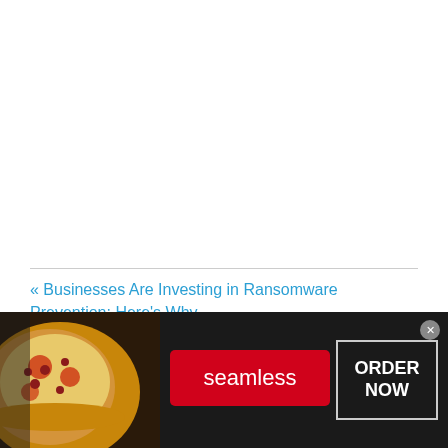« Businesses Are Investing in Ransomware Prevention: Here's Why
4 Critical Budget Updates Businesses Are Making in
[Figure (other): Seamless food delivery advertisement banner showing pizza on the left, a red Seamless logo button in the center, and an ORDER NOW button on the right with a close (x) button in the top right corner.]